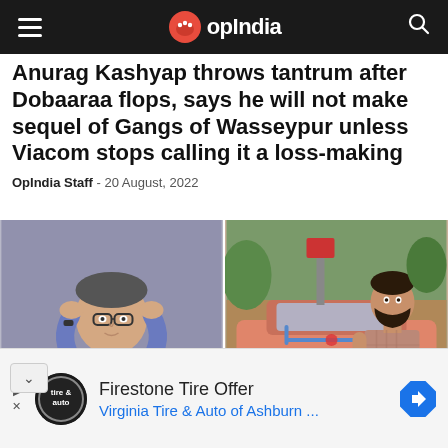OpIndia
Anurag Kashyap throws tantrum after Dobaaraa flops, says he will not make sequel of Gangs of Wasseypur unless Viacom stops calling it a loss-making
OpIndia Staff - 20 August, 2022
[Figure (photo): Two-photo collage: left photo shows a middle-aged man with glasses, arms behind head; right photo shows a bearded young man standing near a decorated car]
Firestone Tire Offer
Virginia Tire & Auto of Ashburn ...